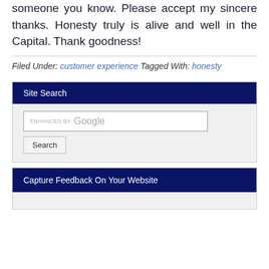someone you know. Please accept my sincere thanks. Honesty truly is alive and well in the Capital. Thank goodness!
Filed Under: customer experience Tagged With: honesty
Site Search
[Figure (screenshot): Search box with 'ENHANCED BY Google' placeholder text and a Search button below]
Capture Feedback On Your Website